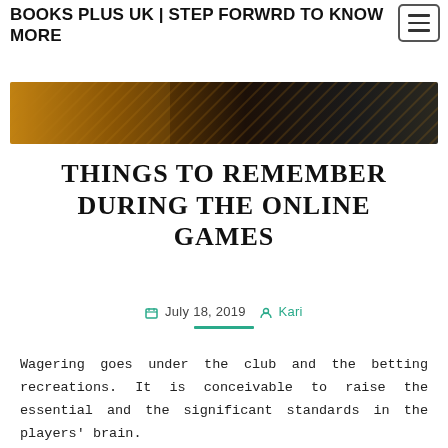BOOKS PLUS UK | STEP FORWRD TO KNOW MORE
[Figure (photo): Close-up photo of electronic circuit board components with gold and dark tones]
THINGS TO REMEMBER DURING THE ONLINE GAMES
July 18, 2019  Kari
Wagering goes under the club and the betting recreations. It is conceivable to raise the essential and the significant standards in the players' brain.